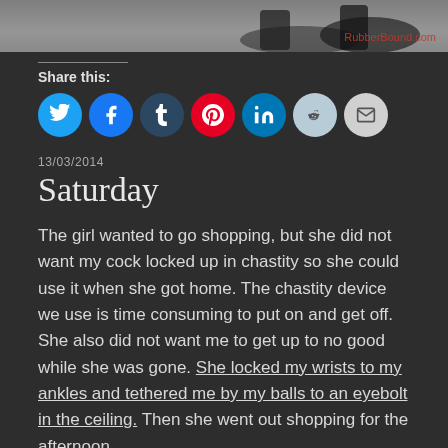[Figure (photo): Partial photo at top showing boots/shoes on a floor, with watermark text 'RubberBound.com' in red at bottom right]
Share this:
[Figure (infographic): Row of social media share buttons: Twitter (blue), Facebook (blue), Tumblr (dark blue), Pinterest (red), LinkedIn (blue), Reddit (light blue), Email (gray)]
13/03/2014
Saturday
The girl wanted to go shopping, but she did not want my cock locked up in chastity so she could use it when she got home. The chastity device we use is time consuming to put on and get off. She also did not want me to get up to no good while she was gone. She locked my wrists to my ankles and tethered me by my balls to an eyebolt in the ceiling. Then she went out shopping for the afternoon